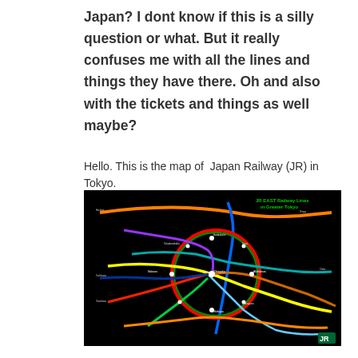Japan? I dont know if this is a silly question or what. But it really confuses me with all the lines and things they have there. Oh and also with the tickets and things as well maybe?
Hello. This is the map of  Japan Railway (JR) in Tokyo.
[Figure (map): JR EAST Railway Lines in Greater Tokyo — a colorful transit map on a black background showing multiple colored railway lines (orange, red, blue, green, yellow, teal, purple, etc.) connecting various stations across the Tokyo metropolitan area.]